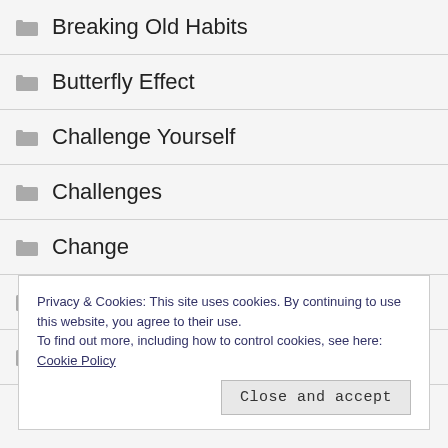Breaking Old Habits
Butterfly Effect
Challenge Yourself
Challenges
Change
Children's Literature
Cleaning
Privacy & Cookies: This site uses cookies. By continuing to use this website, you agree to their use. To find out more, including how to control cookies, see here: Cookie Policy
Close and accept